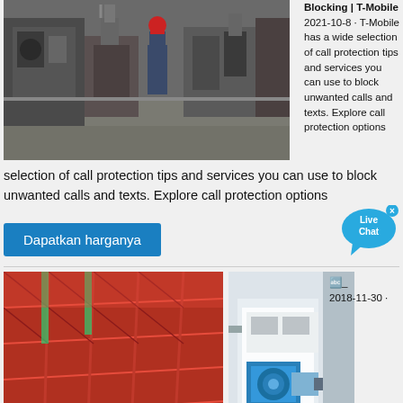[Figure (photo): Industrial factory scene with machinery and a worker in blue overalls and red hard hat working at heavy equipment]
Blocking | T-Mobile
2021-10-8 · T-Mobile has a wide selection of call protection tips and services you can use to block unwanted calls and texts. Explore call protection options
selection of call protection tips and services you can use to block unwanted calls and texts. Explore call protection options
Dapatkan harganya
[Figure (photo): Live Chat bubble icon in blue]
🔤_
2018-11-30 ·
[Figure (photo): Red painted industrial panels or sheets stacked in rows]
[Figure (photo): Industrial machinery with blue motor/pump equipment]
Bootstrap4.,□.,□., .d-none .d- {sm,md,lg,xl}-none ...
Dapatkan harganya